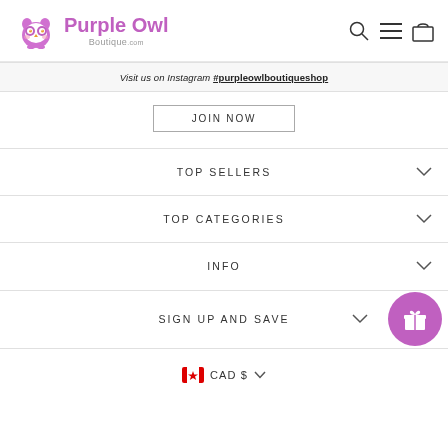Purple Owl Boutique.com
Visit us on Instagram #purpleowlboutiqueshop
JOIN NOW
TOP SELLERS
TOP CATEGORIES
INFO
SIGN UP AND SAVE
CAD $